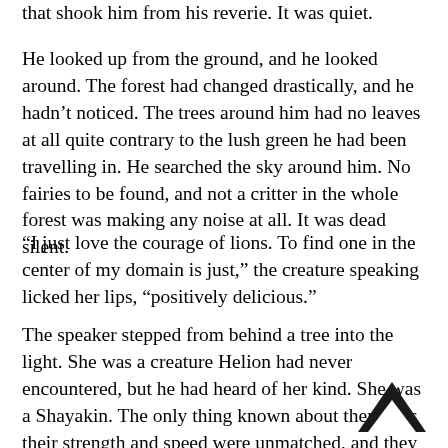that shook him from his reverie. It was quiet.
He looked up from the ground, and he looked around. The forest had changed drastically, and he hadn't noticed. The trees around him had no leaves at all quite contrary to the lush green he had been travelling in. He searched the sky around him. No fairies to be found, and not a critter in the whole forest was making any noise at all. It was dead silent.
“I just love the courage of lions. To find one in the center of my domain is just,” the creature speaking licked her lips, “positively delicious.”
The speaker stepped from behind a tree into the light. She was a creature Helion had never encountered, but he had heard of her kind. She was a Shayakin. The only thing known about them was their strength and speed were unmatched, and they were near extincti … t and they ate their prey alive. Her upper half w human, and her lower half was that of a moun goat. The creature’s entire body was a deep blue, but most disconcerting were the huge malformed horns on her head and her black beetle-like eyes that glinted